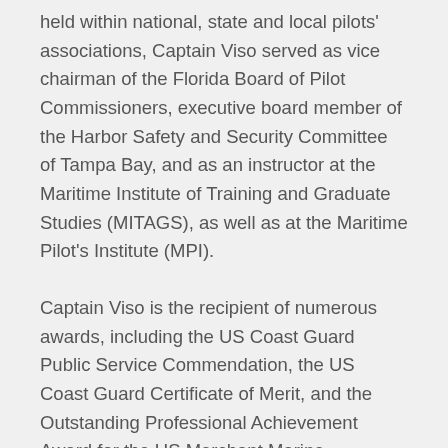held within national, state and local pilots' associations, Captain Viso served as vice chairman of the Florida Board of Pilot Commissioners, executive board member of the Harbor Safety and Security Committee of Tampa Bay, and as an instructor at the Maritime Institute of Training and Graduate Studies (MITAGS), as well as at the Maritime Pilot's Institute (MPI).
Captain Viso is the recipient of numerous awards, including the US Coast Guard Public Service Commendation, the US Coast Guard Certificate of Merit, and the Outstanding Professional Achievement Award for the US Merchant Marine Academy.